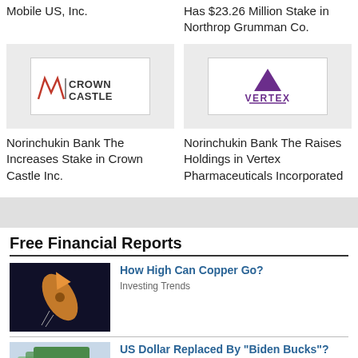Mobile US, Inc.
Has $23.26 Million Stake in Northrop Grumman Co.
[Figure (logo): Crown Castle logo — stylized W/N mark with 'Crown Castle' text]
Norinchukin Bank The Increases Stake in Crown Castle Inc.
[Figure (logo): Vertex Pharmaceuticals logo — purple triangle above 'VERTEX' text]
Norinchukin Bank The Raises Holdings in Vertex Pharmaceuticals Incorporated
Free Financial Reports
[Figure (photo): Dark background photo showing a copper rocket or arrow shape]
How High Can Copper Go?
Investing Trends
[Figure (photo): Photo showing US dollar bills]
US Dollar Replaced By "Biden Bucks"?